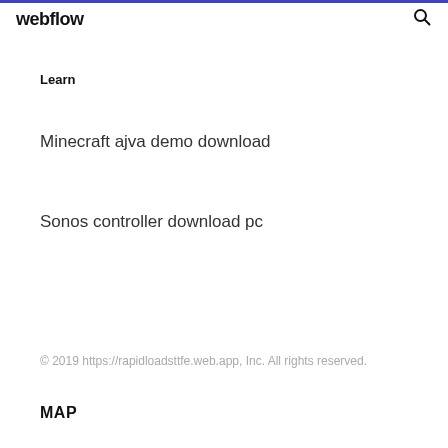webflow
Learn
Minecraft ajva demo download
Sonos controller download pc
© 2019 https://rapidloadsttfe.web.app, Inc. All rights reserved.
MAP